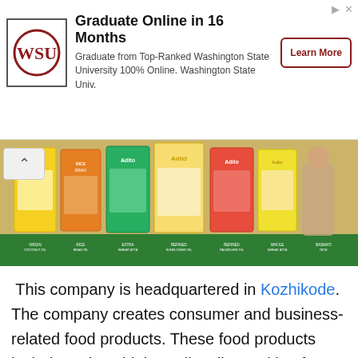[Figure (advertisement): WSU advertisement banner: Graduate Online in 16 Months. Graduate from Top-Ranked Washington State University 100% Online. Washington State Univ. Learn More button.]
[Figure (photo): Product banner showing various Aditi/Adilo branded food product packages (oils, wheat, etc.) arranged on a wooden surface with green bottom strip and text labels.]
This company is headquartered in Kozhikode. The company creates consumer and business-related food products. These food products include various high-quality oils, cooking fats, teas and delicious biscuits. All its products are created from raw materials from Kerala's natural richness. It was